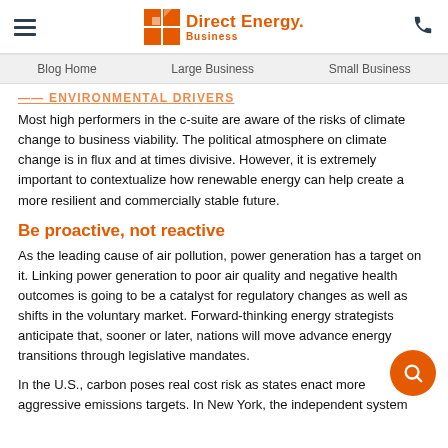Direct Energy Business
Blog Home | Large Business | Small Business
Environmental Drivers
Most high performers in the c-suite are aware of the risks of climate change to business viability. The political atmosphere on climate change is in flux and at times divisive. However, it is extremely important to contextualize how renewable energy can help create a more resilient and commercially stable future.
Be proactive, not reactive
As the leading cause of air pollution, power generation has a target on it. Linking power generation to poor air quality and negative health outcomes is going to be a catalyst for regulatory changes as well as shifts in the voluntary market. Forward-thinking energy strategists anticipate that, sooner or later, nations will move advance energy transitions through legislative mandates.
In the U.S., carbon poses real cost risk as states enact more aggressive emissions targets. In New York, the independent system